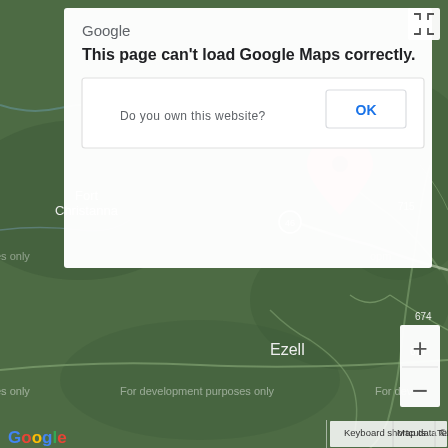[Figure (screenshot): Google Maps screenshot showing a map centered near Fort Christanna and Ezell area with a red location pin. A Google Maps error dialog overlays the top portion reading 'This page can't load Google Maps correctly.' with a 'Do you own this website?' prompt and OK button. Map shows roads labeled 715, 673, 686, 46, 674, and 677. 'For development purposes only' watermark appears on the map. Bottom bar shows Keyboard shortcuts, Map data ©2022, Terms of Use. Google logo appears bottom left. Zoom controls and fullscreen button visible.]